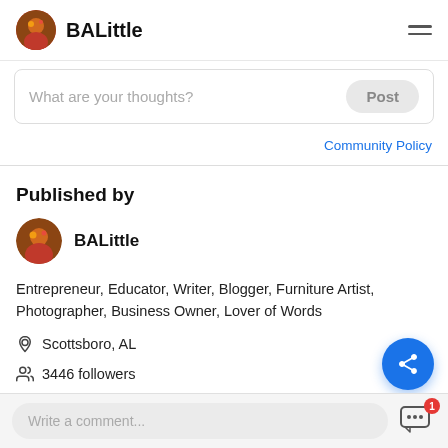BALittle
What are your thoughts?
Post
Community Policy
Published by
BALittle
Entrepreneur, Educator, Writer, Blogger, Furniture Artist, Photographer, Business Owner, Lover of Words
Scottsboro, AL
3446 followers
Follow on NewsBreak
Write a comment...